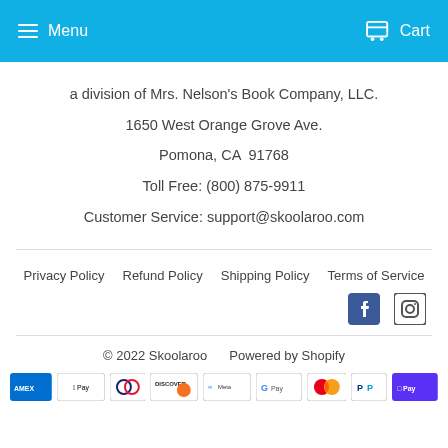Menu  Cart
a division of Mrs. Nelson's Book Company, LLC.
1650 West Orange Grove Ave.
Pomona, CA  91768
Toll Free: (800) 875-9911
Customer Service: support@skoolaroo.com
Privacy Policy  Refund Policy  Shipping Policy  Terms of Service
[Figure (logo): Facebook and Instagram social media icons]
© 2022 Skoolaroo  Powered by Shopify
[Figure (infographic): Payment method icons: Amex, Apple Pay, Diners Club, Discover, Meta Pay, Google Pay, Mastercard, PayPal, Shop Pay]